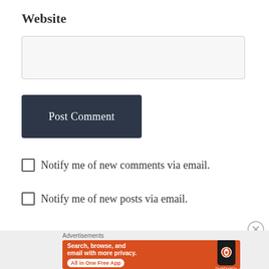Website
[Figure (screenshot): Empty text input field with light gray background and border, used for website URL entry in a comment form]
[Figure (screenshot): Dark navy/charcoal button labeled 'Post Comment' in white serif font]
☐ Notify me of new comments via email.
☐ Notify me of new posts via email.
[Figure (screenshot): DuckDuckGo advertisement banner on orange background reading 'Search, browse, and email with more privacy. All in One Free App' with a smartphone showing the DuckDuckGo logo]
Advertisements